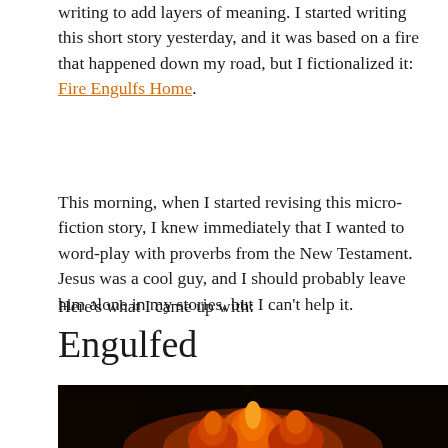writing to add layers of meaning. I started writing this short story yesterday, and it was based on a fire that happened down my road, but I fictionalized it: Fire Engulfs Home.
This morning, when I started revising this micro-fiction story, I knew immediately that I wanted to word-play with proverbs from the New Testament. Jesus was a cool guy, and I should probably leave him alone in my stories, but I can't help it.
Here's what I came up with:
Engulfed
[Figure (photo): Dark photograph of orange and red flames burning against a black background]